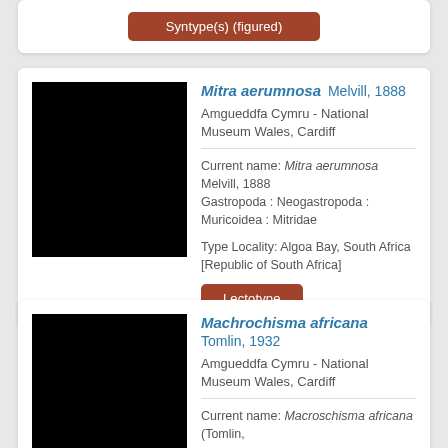Syntype(s) (figured)
[Figure (photo): Black specimen image for Mitra aerumnosa]
Mitra aerumnosa Melvill, 1888
Amgueddfa Cymru - National Museum Wales, Cardiff
Current name: Mitra aerumnosa Melvill, 1888 Gastropoda : Neogastropoda : Muricoidea : Mitridae
Type Locality: Algoa Bay, South Africa [Republic of South Africa]
Lectotype
[Figure (photo): Black specimen image for Machrochisma africana]
Machrochisma africana Tomlin, 1932
Amgueddfa Cymru - National Museum Wales, Cardiff
Current name: Macroschisma africana (Tomlin,